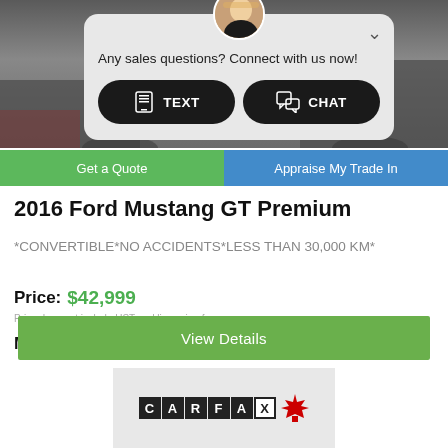[Figure (screenshot): Car dealership listing page screenshot showing a Ford Mustang with a chat popup overlay, price information, and CARFAX logo]
Any sales questions? Connect with us now!
TEXT
CHAT
Get a Quote
Appraise My Trade In
2016 Ford Mustang GT Premium
*CONVERTIBLE*NO ACCIDENTS*LESS THAN 30,000 KM*
Price: $42,999
Price does not include HST and licensing fees
Mileage: 28,086 km
View Details
[Figure (logo): CARFAX Canada logo with maple leaf]